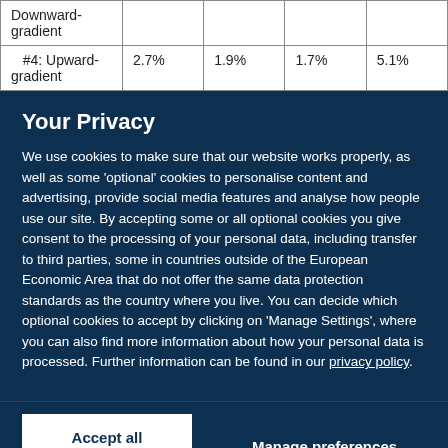| Downward-gradient |  |  |  |  |
| #4: Upward-gradient | 2.7% | 1.9% | 1.7% | 5.1% |
Your Privacy
We use cookies to make sure that our website works properly, as well as some 'optional' cookies to personalise content and advertising, provide social media features and analyse how people use our site. By accepting some or all optional cookies you give consent to the processing of your personal data, including transfer to third parties, some in countries outside of the European Economic Area that do not offer the same data protection standards as the country where you live. You can decide which optional cookies to accept by clicking on 'Manage Settings', where you can also find more information about how your personal data is processed. Further information can be found in our privacy policy.
Accept all cookies | Manage preferences